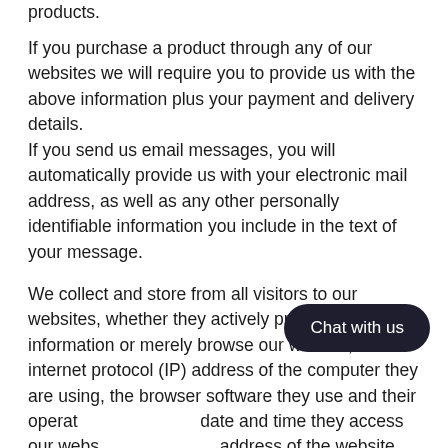products.
If you purchase a product through any of our websites we will require you to provide us with the above information plus your payment and delivery details.
If you send us email messages, you will automatically provide us with your electronic mail address, as well as any other personally identifiable information you include in the text of your message.
We collect and store from all visitors to our websites, whether they actively provide us with information or merely browse our website, the internet protocol (IP) address of the computer they are using, the browser software they use and their operating system, the date and time they access our website, the internet address of the website from which they linked directly